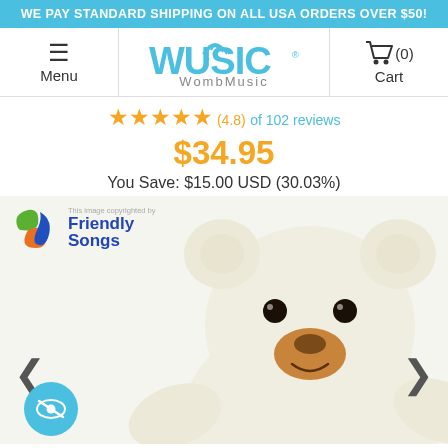WE PAY STANDARD SHIPPING ON ALL USA ORDERS OVER $50!
[Figure (logo): Wusic WombMusic logo with cart and menu navigation bar]
★★★★★ (4.8) of 102 reviews
$34.95
You Save: $15.00 USD (30.03%)
[Figure (photo): White plush teddy bear product photo with Friendly Songs copyright watermark, left and right navigation arrows, and a blue eye/hide button in the lower left corner]